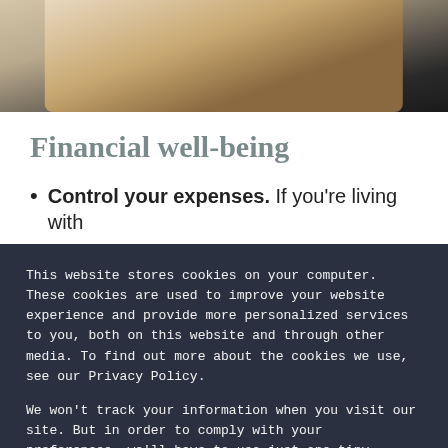[Figure (photo): Partial photo of a person, cropped at top of page, with beige/tan clothing against a dark background.]
Financial well-being
Control your expenses. If you're living with
This website stores cookies on your computer. These cookies are used to improve your website experience and provide more personalized services to you, both on this website and through other media. To find out more about the cookies we use, see our Privacy Policy.
We won't track your information when you visit our site. But in order to comply with your preferences, we'll have to use just one tiny cookie so that you're not asked to make this choice again.